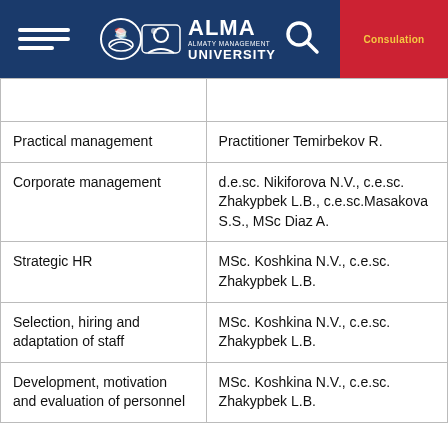ALMA ALMATY MANAGEMENT UNIVERSITY | Consulation
| Course | Instructors |
| --- | --- |
|  |  |
| Practical management | Practitioner Temirbekov R. |
| Corporate management | d.e.sc. Nikiforova N.V., c.e.sc. Zhakypbek L.B., c.e.sc.Masakova S.S., MSc Diaz A. |
| Strategic HR | MSc. Koshkina N.V., c.e.sc. Zhakypbek L.B. |
| Selection, hiring and adaptation of staff | MSc. Koshkina N.V., c.e.sc. Zhakypbek L.B. |
| Development, motivation and evaluation of personnel | MSc. Koshkina N.V., c.e.sc. Zhakypbek L.B. |